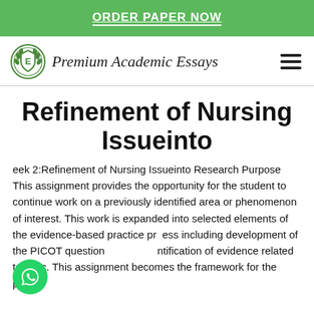ORDER PAPER NOW
[Figure (logo): Premium Academic Essays logo with shield emblem and italic script brand name, plus hamburger menu icon]
Refinement of Nursing Issueinto
eek 2:Refinement of Nursing Issueinto Research Purpose This assignment provides the opportunity for the student to continue work on a previously identified area or phenomenon of interest. This work is expanded into selected elements of the evidence-based practice process including development of the PICOT question identification of evidence related to topic. This assignment becomes the framework for the project